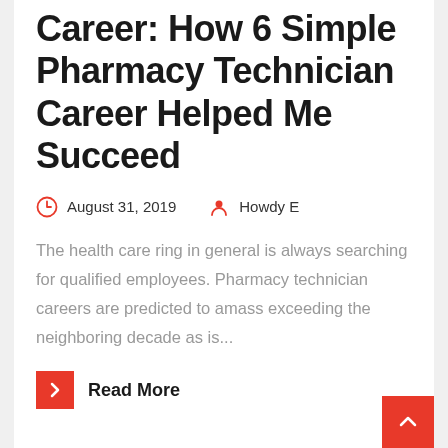Career: How 6 Simple Pharmacy Technician Career Helped Me Succeed
August 31, 2019   Howdy E
The health care ring in general is always searching for qualified employees. Pharmacy technician careers are predicted to amass exceeding the neighboring decade as is...
Read More